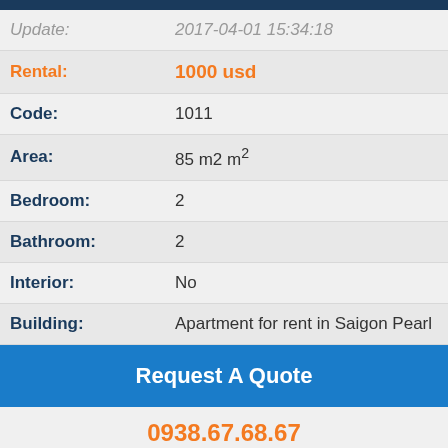| Field | Value |
| --- | --- |
| Update: | 2017-04-01 15:34:18 |
| Rental: | 1000 usd |
| Code: | 1011 |
| Area: | 85 m2 m² |
| Bedroom: | 2 |
| Bathroom: | 2 |
| Interior: | No |
| Building: | Apartment for rent in Saigon Pearl |
Request A Quote
0938.67.68.67